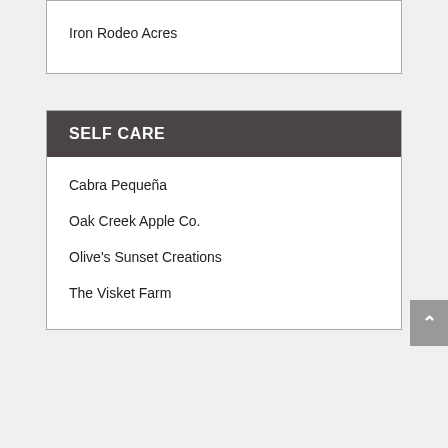Iron Rodeo Acres
SELF CARE
Cabra Pequeña
Oak Creek Apple Co.
Olive's Sunset Creations
The Visket Farm